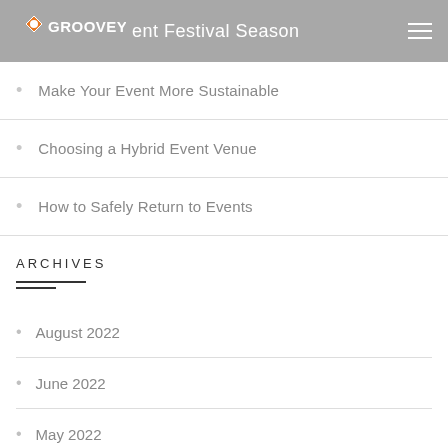GROOVEYARD — [Event] Festival Season
Make Your Event More Sustainable
Choosing a Hybrid Event Venue
How to Safely Return to Events
ARCHIVES
August 2022
June 2022
May 2022